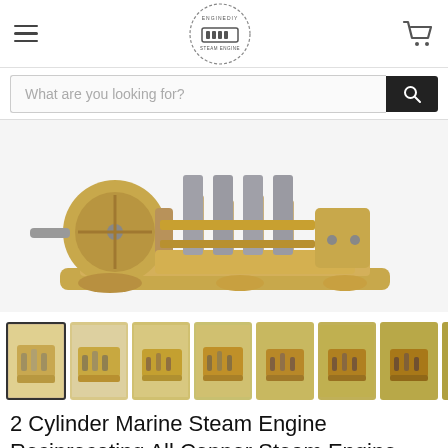EngineDIY — hamburger menu, logo, cart icon
What are you looking for?
[Figure (photo): Close-up photograph of a 2-cylinder marine steam engine mechanism in gold/brass and silver metal, showing crankshaft, pistons, and base plate on white background.]
[Figure (photo): Thumbnail strip showing 8 small product images of the 2-cylinder marine steam engine from various angles.]
2 Cylinder Marine Steam Engine Reciprocating All Copper Steam Engine